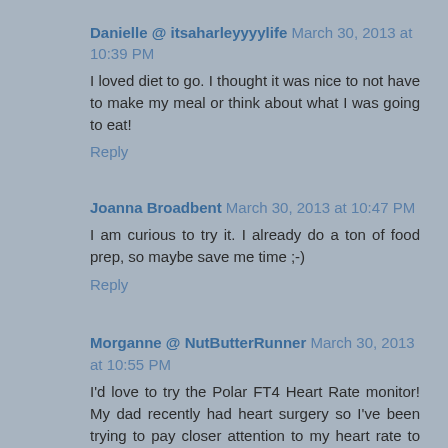Danielle @ itsaharleyyyylife March 30, 2013 at 10:39 PM
I loved diet to go. I thought it was nice to not have to make my meal or think about what I was going to eat!
Reply
Joanna Broadbent March 30, 2013 at 10:47 PM
I am curious to try it. I already do a ton of food prep, so maybe save me time ;-)
Reply
Morganne @ NutButterRunner March 30, 2013 at 10:55 PM
I'd love to try the Polar FT4 Heart Rate monitor! My dad recently had heart surgery so I've been trying to pay closer attention to my heart rate to assure it's in a healthy "safe" zone.